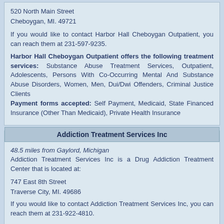520 North Main Street
Cheboygan, MI. 49721
If you would like to contact Harbor Hall Cheboygan Outpatient, you can reach them at 231-597-9235.
Harbor Hall Cheboygan Outpatient offers the following treatment services: Substance Abuse Treatment Services, Outpatient, Adolescents, Persons With Co-Occurring Mental And Substance Abuse Disorders, Women, Men, Dui/Dwi Offenders, Criminal Justice Clients
Payment forms accepted: Self Payment, Medicaid, State Financed Insurance (Other Than Medicaid), Private Health Insurance
Addiction Treatment Services Inc
48.5 miles from Gaylord, Michigan
Addiction Treatment Services Inc is a Drug Addiction Treatment Center that is located at:
747 East 8th Street
Traverse City, MI. 49686
If you would like to contact Addiction Treatment Services Inc, you can reach them at 231-922-4810.